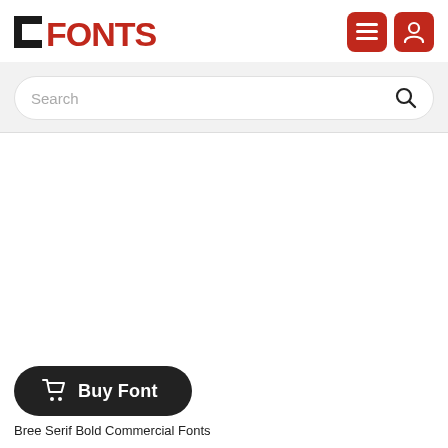[Figure (logo): 1FONTS logo with red text on white background, with two red square icon buttons (menu and user) in top right corner]
[Figure (screenshot): Search bar with placeholder text 'Search' and magnifying glass icon on grey background]
[Figure (screenshot): Large white empty content area]
[Figure (screenshot): Dark rounded pill-shaped Buy Font button with shopping cart icon]
Bree Serif Bold Commercial Fonts